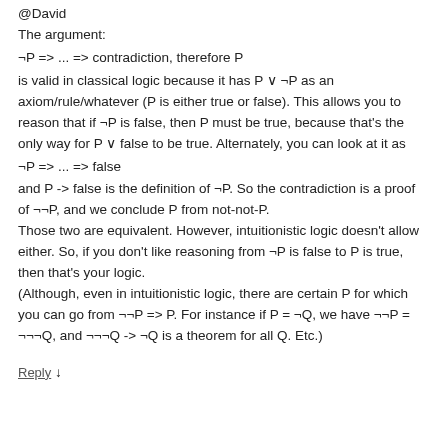@David
The argument:
is valid in classical logic because it has P ∨ ¬P as an axiom/rule/whatever (P is either true or false). This allows you to reason that if ¬P is false, then P must be true, because that's the only way for P ∨ false to be true. Alternately, you can look at it as
and P -> false is the definition of ¬P. So the contradiction is a proof of ¬¬P, and we conclude P from not-not-P.
Those two are equivalent. However, intuitionistic logic doesn't allow either. So, if you don't like reasoning from ¬P is false to P is true, then that's your logic.
(Although, even in intuitionistic logic, there are certain P for which you can go from ¬¬P => P. For instance if P = ¬Q, we have ¬¬P = ¬¬¬Q, and ¬¬¬Q -> ¬Q is a theorem for all Q. Etc.)
Reply ↓